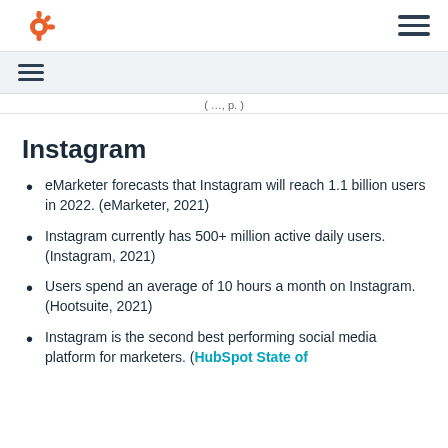HubSpot logo and navigation menu
Secondary navigation bar with hamburger menu
( …, p. )
Instagram
eMarketer forecasts that Instagram will reach 1.1 billion users in 2022. (eMarketer, 2021)
Instagram currently has 500+ million active daily users. (Instagram, 2021)
Users spend an average of 10 hours a month on Instagram. (Hootsuite, 2021)
Instagram is the second best performing social media platform for marketers. (HubSpot State of